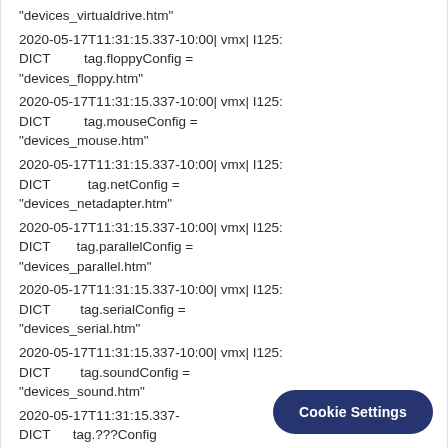"devices_virtualdrive.htm"
2020-05-17T11:31:15.337-10:00| vmx| I125: DICT        tag.floppyConfig = "devices_floppy.htm"
2020-05-17T11:31:15.337-10:00| vmx| I125: DICT        tag.mouseConfig = "devices_mouse.htm"
2020-05-17T11:31:15.337-10:00| vmx| I125: DICT        tag.netConfig = "devices_netadapter.htm"
2020-05-17T11:31:15.337-10:00| vmx| I125: DICT        tag.parallelConfig = "devices_parallel.htm"
2020-05-17T11:31:15.337-10:00| vmx| I125: DICT        tag.serialConfig = "devices_serial.htm"
2020-05-17T11:31:15.337-10:00| vmx| I125: DICT        tag.soundConfig = "devices_sound.htm"
2020-05-17T11:31:15.337-   [truncated]  DICT        tag.???Config
Cookie Settings